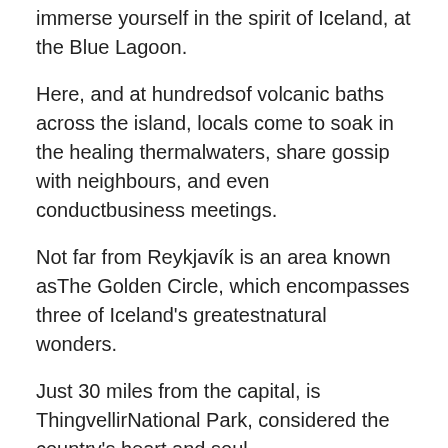immerse yourself in the spirit of Iceland, at the Blue Lagoon.
Here, and at hundredsof volcanic baths across the island, locals come to soak in the healing thermalwaters, share gossip with neighbours, and even conductbusiness meetings.
Not far from Reykjavík is an area known asThe Golden Circle, which encompasses three of Iceland's greatestnatural wonders.
Just 30 miles from the capital, is ThingvellirNational Park, considered the country's heart and soul.
Here, you can actually walk between the tectonicplates of North America and Europe, that have been drifting apart for millennia.
Stand upon the shore of the country's largestlake, ...